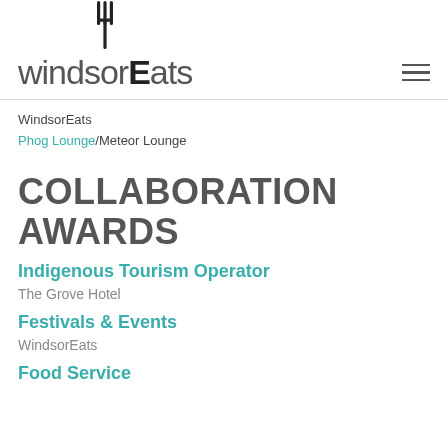windsorEats
WindsorEats
Phog Lounge/Meteor Lounge
COLLABORATION AWARDS
Indigenous Tourism Operator
The Grove Hotel
Festivals & Events
WindsorEats
Food Service